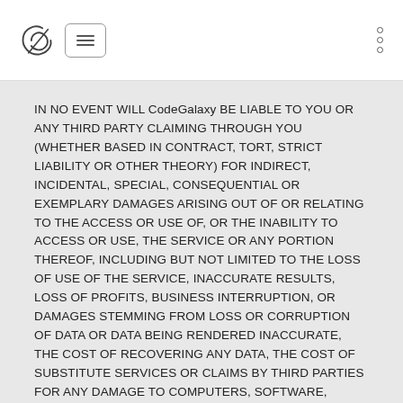CodeGalaxy
IN NO EVENT WILL CodeGalaxy BE LIABLE TO YOU OR ANY THIRD PARTY CLAIMING THROUGH YOU (WHETHER BASED IN CONTRACT, TORT, STRICT LIABILITY OR OTHER THEORY) FOR INDIRECT, INCIDENTAL, SPECIAL, CONSEQUENTIAL OR EXEMPLARY DAMAGES ARISING OUT OF OR RELATING TO THE ACCESS OR USE OF, OR THE INABILITY TO ACCESS OR USE, THE SERVICE OR ANY PORTION THEREOF, INCLUDING BUT NOT LIMITED TO THE LOSS OF USE OF THE SERVICE, INACCURATE RESULTS, LOSS OF PROFITS, BUSINESS INTERRUPTION, OR DAMAGES STEMMING FROM LOSS OR CORRUPTION OF DATA OR DATA BEING RENDERED INACCURATE, THE COST OF RECOVERING ANY DATA, THE COST OF SUBSTITUTE SERVICES OR CLAIMS BY THIRD PARTIES FOR ANY DAMAGE TO COMPUTERS, SOFTWARE, MODEMS,